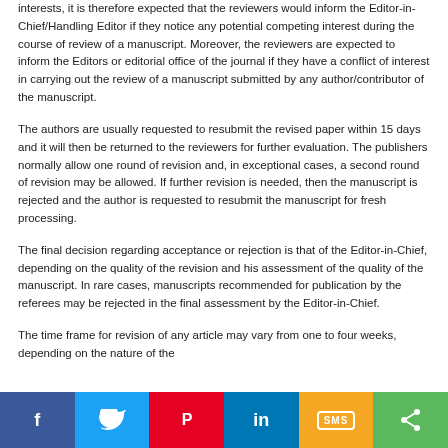interests, it is therefore expected that the reviewers would inform the Editor-in-Chief/Handling Editor if they notice any potential competing interest during the course of review of a manuscript. Moreover, the reviewers are expected to inform the Editors or editorial office of the journal if they have a conflict of interest in carrying out the review of a manuscript submitted by any author/contributor of the manuscript.
The authors are usually requested to resubmit the revised paper within 15 days and it will then be returned to the reviewers for further evaluation. The publishers normally allow one round of revision and, in exceptional cases, a second round of revision may be allowed. If further revision is needed, then the manuscript is rejected and the author is requested to resubmit the manuscript for fresh processing.
The final decision regarding acceptance or rejection is that of the Editor-in-Chief, depending on the quality of the revision and his assessment of the quality of the manuscript. In rare cases, manuscripts recommended for publication by the referees may be rejected in the final assessment by the Editor-in-Chief.
The time frame for revision of any article may vary from one to four weeks, depending on the nature of the